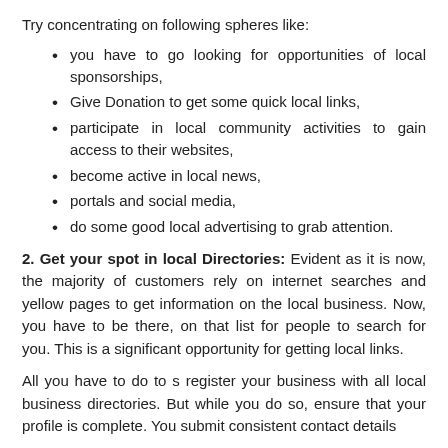Try concentrating on following spheres like:
you have to go looking for opportunities of local sponsorships,
Give Donation to get some quick local links,
participate in local community activities to gain access to their websites,
become active in local news,
portals and social media,
do some good local advertising to grab attention.
2. Get your spot in local Directories: Evident as it is now, the majority of customers rely on internet searches and yellow pages to get information on the local business. Now, you have to be there, on that list for people to search for you. This is a significant opportunity for getting local links.
All you have to do to s register your business with all local business directories. But while you do so, ensure that your profile is complete. You submit consistent contact details